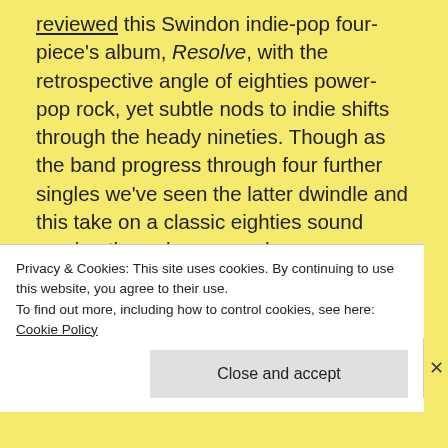reviewed this Swindon indie-pop four-piece's album, Resolve, with the retrospective angle of eighties power-pop rock, yet subtle nods to indie shifts through the heady nineties. Though as the band progress through four further singles we've seen the latter dwindle and this take on a classic eighties sound coming through more and more.

Though Talk in Code is no tribute, this is progressive, refreshingly contemporary and exclusively perfected, a hi-fidelity ambience where
Privacy & Cookies: This site uses cookies. By continuing to use this website, you agree to their use.
To find out more, including how to control cookies, see here: Cookie Policy
Close and accept